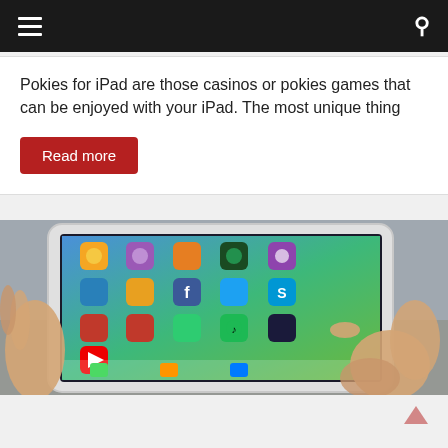Navigation bar with hamburger menu and search icon
Pokies for iPad are those casinos or pokies games that can be enjoyed with your iPad. The most unique thing
Read more
[Figure (photo): Hands holding a white iPad displaying its home screen with various colorful app icons including Facebook, Twitter, Skype, Spotify, YouTube, and others. The screen shows an iOS home screen with a blue-green wallpaper.]
News